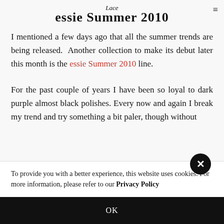essie Summer 2010
I mentioned a few days ago that all the summer trends are being released.  Another collection to make its debut later this month is the essie Summer 2010 line.
For the past couple of years I have been so loyal to dark purple almost black polishes. Every now and again I break my trend and try something a bit paler, though without
To provide you with a better experience, this website uses cookies. For more information, please refer to our Privacy Policy
OK